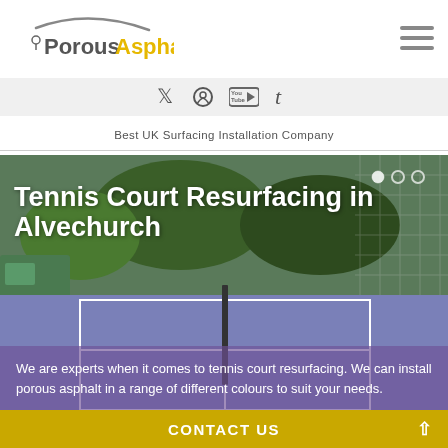[Figure (logo): Porous Asphalt logo with arc swoosh above and location pin icon]
[Figure (infographic): Hamburger menu icon (three horizontal lines)]
[Figure (infographic): Social media icons bar: Twitter, Pinterest, YouTube, Tumblr]
Best UK Surfacing Installation Company
[Figure (photo): Tennis court resurfacing photo showing purple/green court with mesh fence and trees in background]
Tennis Court Resurfacing in Alvechurch
We are experts when it comes to tennis court resurfacing. We can install porous asphalt in a range of different colours to suit your needs.
CONTACT US